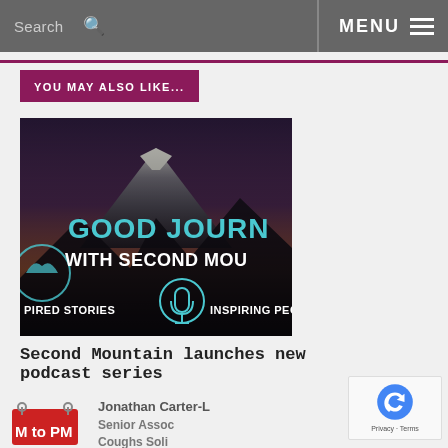Search | MENU
YOU MAY ALSO LIKE...
[Figure (photo): Promotional image for Good Journey podcast with Second Mountain. Shows mountain landscape with text overlay: GOOD JOURNEY WITH SECOND MOU[ntain], INSPIRED STORIES, INSPIRING PEO[ple], with a microphone icon.]
Second Mountain launches new podcast series
[Figure (photo): Thumbnail showing a red calendar/tag with text 'M to PM' and beside it text reading 'Jonathan Carter-L[aw], Senior Assoc[iate], Coughs Soli[citors]']
[Figure (other): Google reCAPTCHA badge with Privacy and Terms links]